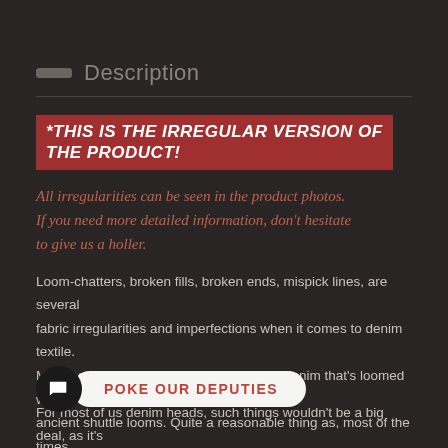Description
*THIS IS THE IRREGULAR VERSION OF THE PRODUCT!
All irregularities can be seen in the product photos. If you need more detailed information, don't hesitate to give us a holler.
Loom-chatters, broken fills, broken ends, mispick lines, are several fabric irregularities and imperfections when it comes to denim textile. Moreover, if we're talking about selvedge denim that's loomed with ancient shuttle looms. Quite a reasonable thing as, most of the times, the mechanics of vintage shuttle looms are filled with many un...la...
POKE OUR DEPUTIES
For most of us denim heads, such things wouldn't be a big deal, as it's